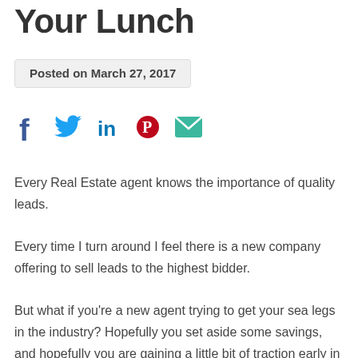Your Lunch
Posted on March 27, 2017
[Figure (other): Social share icons: Facebook, Twitter, LinkedIn, Pinterest, Email]
Every Real Estate agent knows the importance of quality leads.
Every time I turn around I feel there is a new company offering to sell leads to the highest bidder.
But what if you're a new agent trying to get your sea legs in the industry? Hopefully you set aside some savings, and hopefully you are gaining a little bit of traction early in the game, but chances are you don't have a lot of disposable